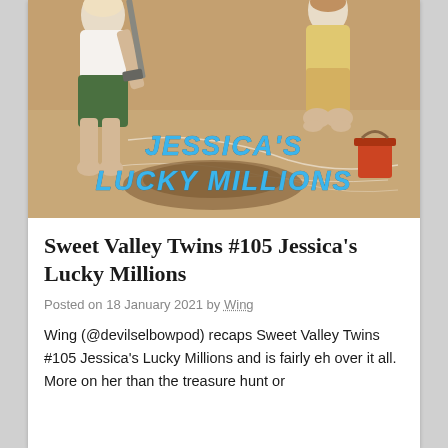[Figure (illustration): Book cover for Sweet Valley Twins #105 Jessica's Lucky Millions, showing children digging in sand/dirt with a red bucket, on a sandy/marble-textured background. The title 'JESSICA'S LUCKY MILLIONS' is displayed in bold blue italic text overlaid on the image.]
Sweet Valley Twins #105 Jessica's Lucky Millions
Posted on 18 January 2021 by Wing
Wing (@devilselbowpod) recaps Sweet Valley Twins #105 Jessica's Lucky Millions and is fairly eh over it all. More on her than the treasure hunt or